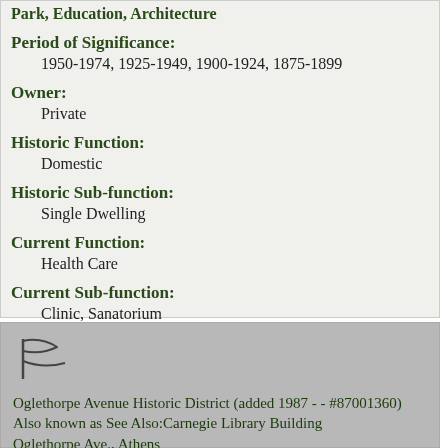Park, Education, Architecture
Period of Significance:
1950-1974, 1925-1949, 1900-1924, 1875-1899
Owner:
Private
Historic Function:
Domestic
Historic Sub-function:
Single Dwelling
Current Function:
Health Care
Current Sub-function:
Clinic, Sanatorium
[Figure (logo): Small flag/banner icon]
Oglethorpe Avenue Historic District (added 1987 - - #87001360)
Also known as See Also:Carnegie Library Building
Oglethorpe Ave., Athens